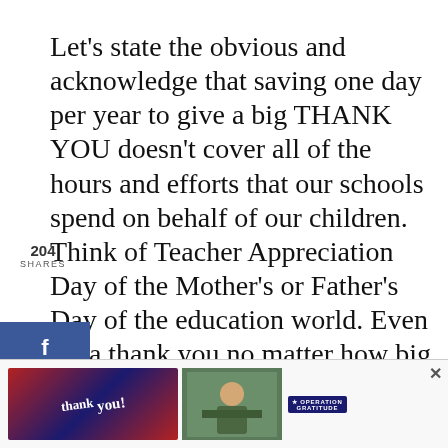Let's state the obvious and acknowledge that saving one day per year to give a big THANK YOU doesn't cover all of the hours and efforts that our schools spend on behalf of our children. Think of Teacher Appreciation Day of the Mother's or Father's Day of the education world. Even so, a thank you no matter how big or how small, is always welcome and appreciated. How will you make the most of Teacher Appreciation at your kids' school this year? I am still coming up with ideas and the...
[Figure (infographic): Social sharing sidebar on the left with share count 204 SHARES, Facebook (f), Twitter bird, Pinterest (p), Yummly (yum), and Flipboard (r) buttons stacked vertically in blue, light blue, red, orange, red colors respectively.]
[Figure (infographic): Right side floating action buttons: teal heart button, count 205, and a share icon button.]
[Figure (infographic): WHAT'S NEXT → Apple Cider Muffins thumbnail card with image of apples.]
[Figure (photo): Advertisement banner at bottom: Thank you text with American flag theme, military appreciation photo, Operation Gratitude logo, and close X button.]